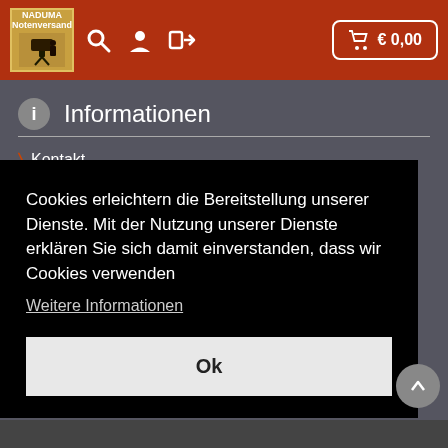[Figure (screenshot): NADUMA Notenversand website header with red background, logo, search icon, user icon, login icon, and cart button showing € 0,00]
Informationen
Kontakt
Cookies erleichtern die Bereitstellung unserer Dienste. Mit der Nutzung unserer Dienste erklären Sie sich damit einverstanden, dass wir Cookies verwenden
Weitere Informationen
Ok